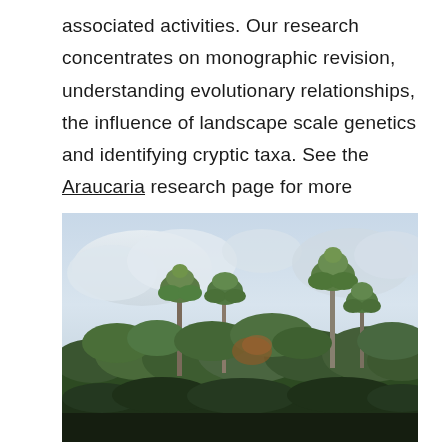associated activities. Our research concentrates on monographic revision, understanding evolutionary relationships, the influence of landscape scale genetics and identifying cryptic taxa. See the Araucaria research page for more information.
[Figure (photo): Photograph of a forest canopy showing tall Araucaria trees and other vegetation against a partly cloudy sky.]